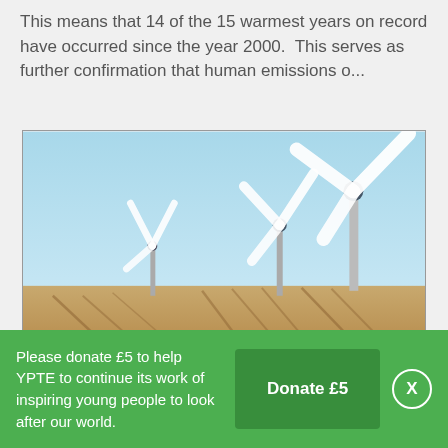This means that 14 of the 15 warmest years on record have occurred since the year 2000.  This serves as further confirmation that human emissions o...
[Figure (photo): Photo of three wind turbines standing against a clear blue sky over sandy/agricultural land with rows of crops visible below.]
Please donate £5 to help YPTE to continue its work of inspiring young people to look after our world.
Donate £5